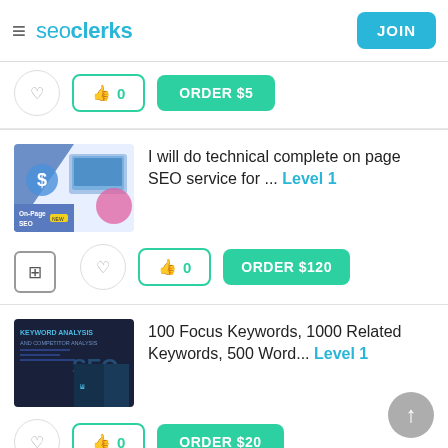seoclerks | JOIN
ORDER $5
[Figure (screenshot): On-Page SEO service thumbnail with blue diagonal design and laptop graphic]
I will do technical complete on page SEO service for ... Level 1
0 | ORDER $120
[Figure (screenshot): Dark themed SEO keywords analysis thumbnail with text and person holding tablet]
100 Focus Keywords, 1000 Related Keywords, 500 Word... Level 1
0 | ORDER $20
[Figure (screenshot): Green themed On-Page SEO optimization for Google thumbnail with person photo]
I will do technical complete on page SEO for Google g... Level 1
0 | ORDER $12